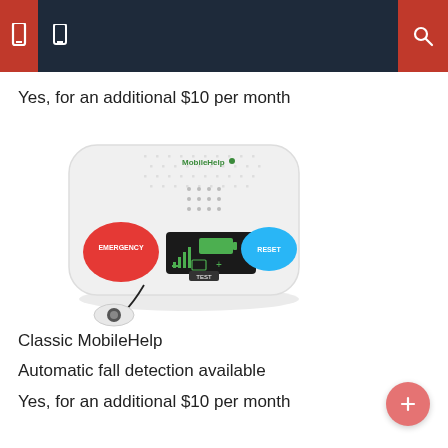Yes, for an additional $10 per month
[Figure (photo): MobileHelp Classic medical alert device — a white rounded-square base unit with red EMERGENCY button, blue RESET button, a small LCD display, and a pendant/help button connected by a cord]
Classic MobileHelp
Automatic fall detection available
Yes, for an additional $10 per month